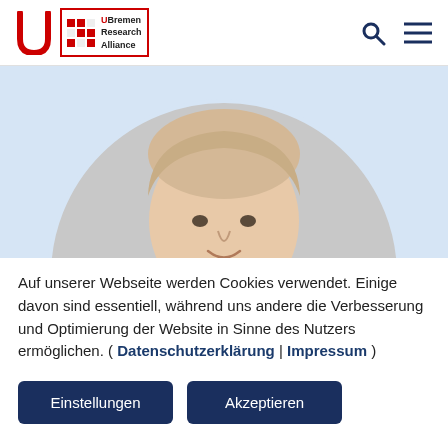[Figure (logo): University of Bremen and UBremen Research Alliance logo in header]
[Figure (photo): Circular profile photo of a young man with blonde hair wearing a dark blue shirt, on a light blue background]
Auf unserer Webseite werden Cookies verwendet. Einige davon sind essentiell, während uns andere die Verbesserung und Optimierung der Website in Sinne des Nutzers ermöglichen. ( Datenschutzerklärung | Impressum )
Einstellungen
Akzeptieren